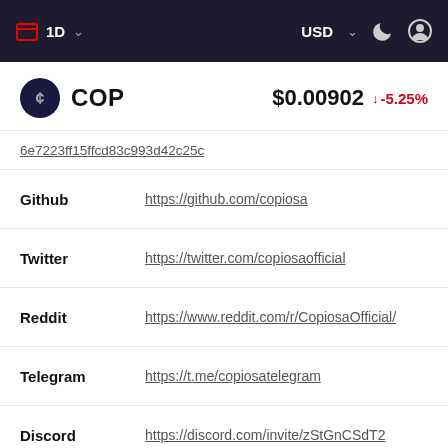1D  USD
COP  $0.00902  -5.25%
6e7223ff15ff cd83c993d42c25c
| Field | Value |
| --- | --- |
| Github | https://github.com/copiosa |
| Twitter | https://twitter.com/copiosaofficial |
| Reddit | https://www.reddit.com/r/CopiosaOfficial/ |
| Telegram | https://t.me/copiosatelegram |
| Discord | https://discord.com/invite/zStGnCSdT2 |